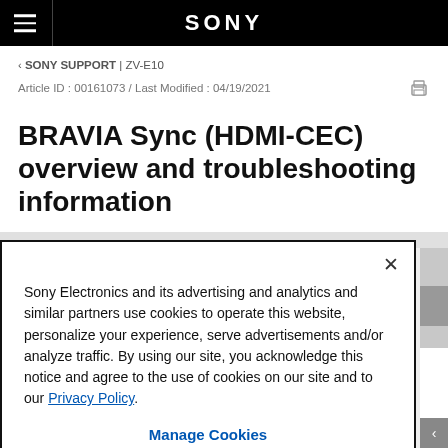SONY
‹ SONY SUPPORT | ZV-E10
Article ID : 00161073 / Last Modified : 04/19/2021
BRAVIA Sync (HDMI-CEC) overview and troubleshooting information
Sony Electronics and its advertising and analytics and similar partners use cookies to operate this website, personalize your experience, serve advertisements and/or analyze traffic. By using our site, you acknowledge this notice and agree to the use of cookies on our site and to our Privacy Policy.
Manage Cookies